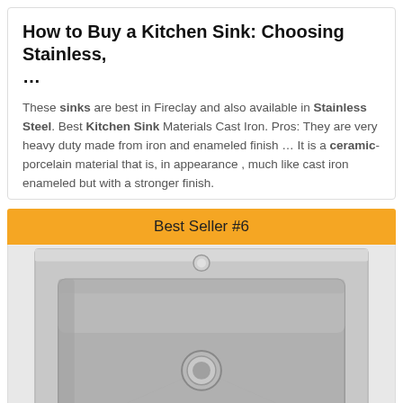How to Buy a Kitchen Sink: Choosing Stainless, …
These sinks are best in Fireclay and also available in Stainless Steel. Best Kitchen Sink Materials Cast Iron. Pros: They are very heavy duty made from iron and enameled finish … It is a ceramic-porcelain material that is, in appearance , much like cast iron enameled but with a stronger finish.
Best Seller #6
[Figure (photo): A stainless steel single-basin kitchen drop-in sink viewed from above, showing a small faucet hole at the top center and a drain hole in the center of the basin.]